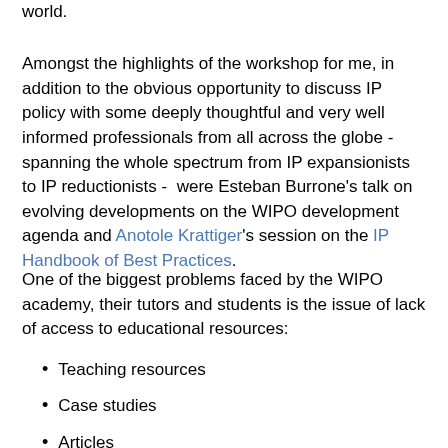world.
Amongst the highlights of the workshop for me, in addition to the obvious opportunity to discuss IP policy with some deeply thoughtful and very well informed professionals from all across the globe - spanning the whole spectrum from IP expansionists to IP reductionists -  were Esteban Burrone's talk on evolving developments on the WIPO development agenda and Anotole Krattiger's session on the IP Handbook of Best Practices.
One of the biggest problems faced by the WIPO academy, their tutors and students is the issue of lack of access to educational resources:
Teaching resources
Case studies
Articles
Books
Teaching activities
Region/jurisdiction specific resources/tools